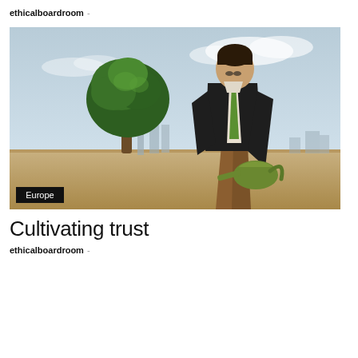ethicalboardroom -
[Figure (photo): A businessman in a dark suit with a green tie, bending forward to water a small tree with a green watering can, set against a city skyline background. A 'Europe' label overlay appears in the bottom left corner.]
Cultivating trust
ethicalboardroom -